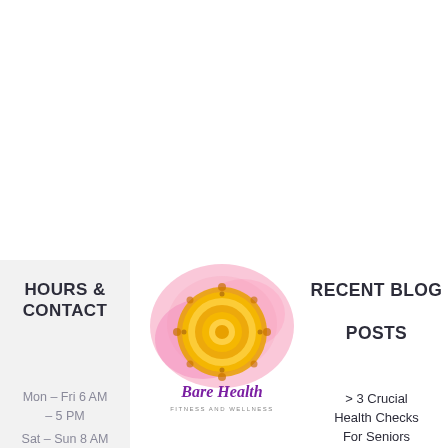HOURS & CONTACT
[Figure (logo): Bare Health Fitness and Wellness logo with mandala design in pink/yellow/orange watercolor with script text]
RECENT BLOG POSTS
Mon - Fri 6 AM - 5 PM
Sat - Sun 8 AM
> 3 Crucial Health Checks For Seniors